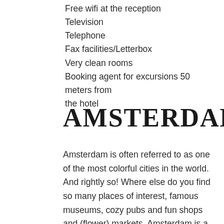Free wifi at the reception
Television
Telephone
Fax facilities/Letterbox
Very clean rooms
Booking agent for excursions 50 meters from the hotel
AMSTERDAM
Amsterdam is often referred to as one of the most colorful cities in the world. And rightly so! Where else do you find so many places of interest, famous museums, cozy pubs and fun shops and (flower) markets. Amsterdam is a lively multi cultural city where you can enjoy all kinds of Theatre, Live-music, Historical and Modern Art, Festivals and Street performances